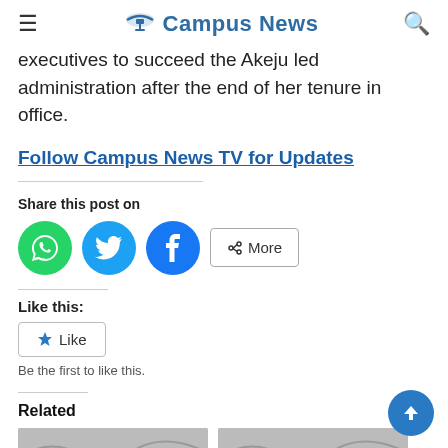Campus News
executives to succeed the Akeju led administration after the end of her tenure in office.
Follow Campus News TV for Updates
Share this post on
Like this:
Like
Be the first to like this.
Related